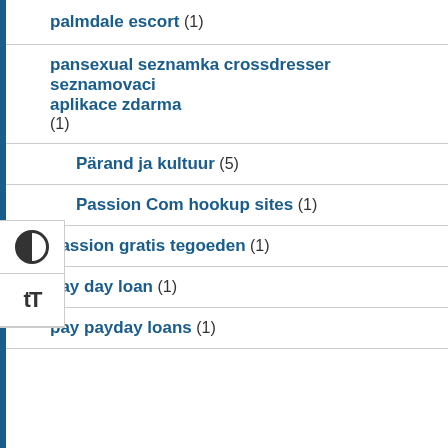palmdale escort (1)
pansexual seznamka crossdresser seznamovaci aplikace zdarma (1)
Pärand ja kultuur (5)
Passion Com hookup sites (1)
passion gratis tegoeden (1)
pay day loan (1)
pay payday loans (1)